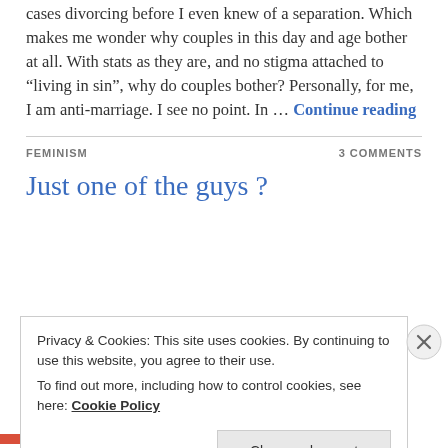cases divorcing before I even knew of a separation. Which makes me wonder why couples in this day and age bother at all. With stats as they are, and no stigma attached to “living in sin”, why do couples bother? Personally, for me, I am anti-marriage. I see no point. In … Continue reading
FEMINISM
3 COMMENTS
Just one of the guys ?
Privacy & Cookies: This site uses cookies. By continuing to use this website, you agree to their use.
To find out more, including how to control cookies, see here: Cookie Policy
Close and accept